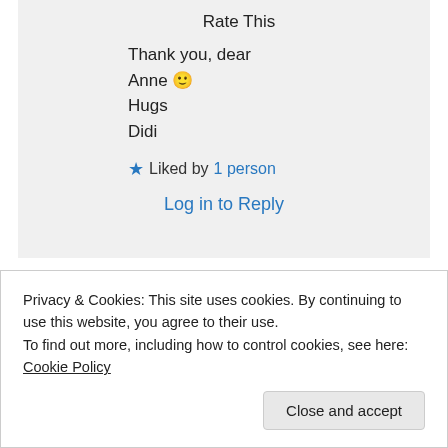Rate This
Thank you, dear
Anne 🙂
Hugs
Didi
★ Liked by 1 person
Log in to Reply
Advertisements
[Figure (other): Dark blue advertisement banner bar with red section on right]
Privacy & Cookies: This site uses cookies. By continuing to use this website, you agree to their use.
To find out more, including how to control cookies, see here: Cookie Policy
Close and accept